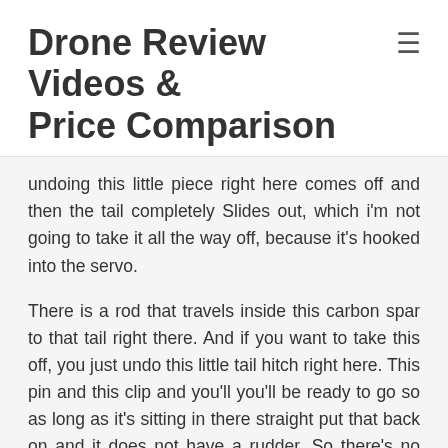Drone Review Videos & Price Comparison
undoing this little piece right here comes off and then the tail completely Slides out, which i'm not going to take it all the way off, because it's hooked into the servo.
There is a rod that travels inside this carbon spar to that tail right there. And if you want to take this off, you just undo this little tail hitch right here. This pin and this clip and you'll you'll be ready to go so as long as it's sitting in there straight put that back on and it does not have a rudder. So there's no rudder on here you guys there's only elevator and ailerons and your motor, so three channel plane. You can also add gps on here, which i did this is the zod copilot